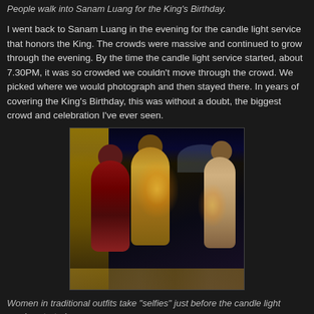People walk into Sanam Luang for the King's Birthday.
I went back to Sanam Luang in the evening for the candle light service that honors the King. The crowds were massive and continued to grow through the evening. By the time the candle light service started, about 7.30PM, it was so crowded we couldn't move through the crowd. We picked where we would photograph and then stayed there. In years of covering the King's Birthday, this was without a doubt, the biggest crowd and celebration I've ever seen.
[Figure (photo): Women in traditional Thai outfits holding candles at night at Sanam Luang. A woman in a red hijab and red dress stands on the left. Two women in golden Thai traditional dress hold lit candles in the center. A woman in a light-colored dress stands on the right. The background shows a crowd in yellow and a large white dome structure illuminated at night.]
Women in traditional outfits take "selfies" just before the candle light service started.